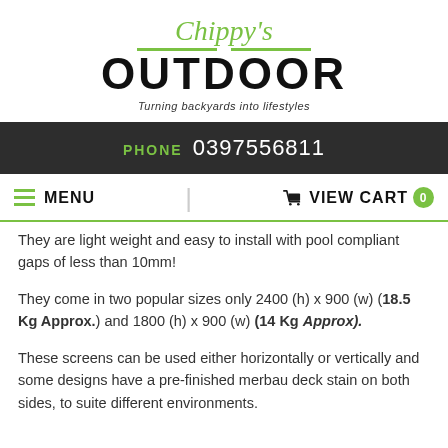[Figure (logo): Chippy's Outdoor logo with green script 'Chippy's', bold black 'OUTDOOR', green accent lines, and italic tagline 'Turning backyards into lifestyles']
PHONE  0397556811
MENU  |  VIEW CART 0
They are light weight and easy to install with pool compliant gaps of less than 10mm!
They come in two popular sizes only 2400 (h) x 900 (w) (18.5 Kg Approx.) and 1800 (h) x 900 (w) (14 Kg Approx).
These screens can be used either horizontally or vertically and some designs have a pre-finished merbau deck stain on both sides, to suite different environments.